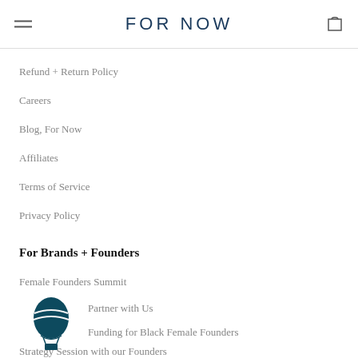FOR NOW
Refund + Return Policy
Careers
Blog, For Now
Affiliates
Terms of Service
Privacy Policy
For Brands + Founders
Female Founders Summit
Partner with Us
Funding for Black Female Founders
Strategy Session with our Founders
[Figure (logo): Hot air balloon logo icon in dark teal/navy color]